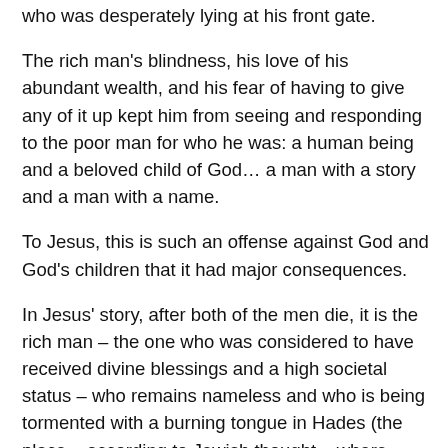who was desperately lying at his front gate.
The rich man's blindness, his love of his abundant wealth, and his fear of having to give any of it up kept him from seeing and responding to the poor man for who he was: a human being and a beloved child of God… a man with a story and a man with a name.
To Jesus, this is such an offense against God and God's children that it had major consequences.
In Jesus' story, after both of the men die, it is the rich man – the one who was considered to have received divine blessings and a high societal status – who remains nameless and who is being tormented with a burning tongue in Hades (the place – according to Jewish thought – where people would go after they died and were buried.)
And it was this man who was to bring some other people...